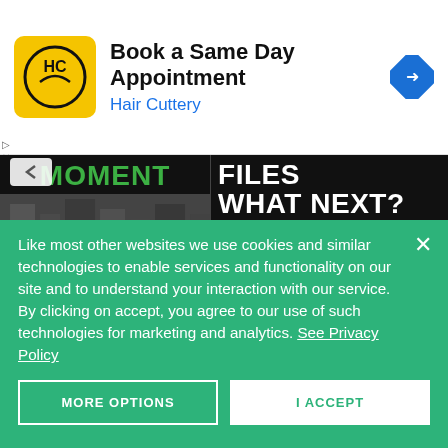[Figure (screenshot): Advertisement banner: Hair Cuttery 'Book a Same Day Appointment' ad with logo, text, and navigation arrow icon]
[Figure (screenshot): Magazine screenshot showing two pages: left with green 'MOMENT' header and dark urban photo, right with 'FILES WHAT NEXT?' white text on black background and yellow quote block]
Like most other websites we use cookies and similar technologies to enable services and functionality on our site and to understand your interaction with our service. By clicking on accept, you agree to our use of such technologies for marketing and analytics. See Privacy Policy
MORE OPTIONS
I ACCEPT